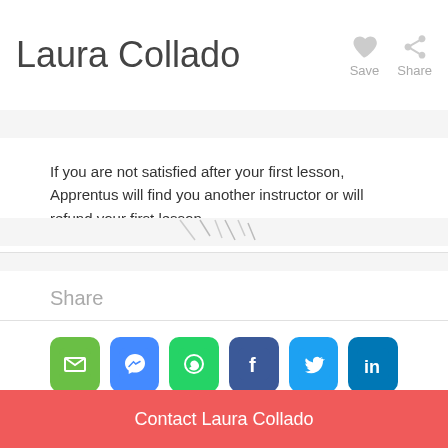Laura Collado
If you are not satisfied after your first lesson, Apprentus will find you another instructor or will refund your first lesson.
Share
[Figure (infographic): Row of 6 social sharing icon buttons: Email (green), Messenger (blue), WhatsApp (green), Facebook (dark blue), Twitter (light blue), LinkedIn (blue)]
You are here
Private lessons  ▶  English in Barcelona
Contact Laura Collado